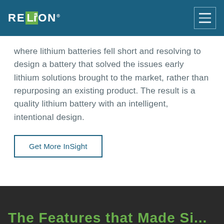RELi3ON
where lithium batteries fell short and resolving to design a battery that solved the issues early lithium solutions brought to the market, rather than repurposing an existing product. The result is a quality lithium battery with an intelligent, intentional design.
Get More InSight